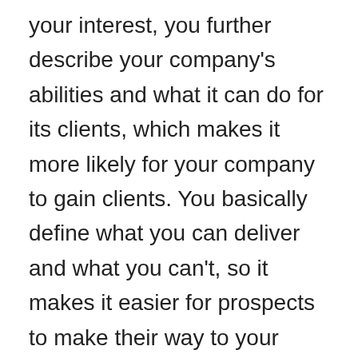your interest, you further describe your company's abilities and what it can do for its clients, which makes it more likely for your company to gain clients. You basically define what you can deliver and what you can't, so it makes it easier for prospects to make their way to your company. Define Your Ideal Client In order to get the client, you need to understand the client. Again the goal is not to confuse the client as a confused client is a lost client. Figure out your ideal clients by acknowledging your skills and what type of clients your company deals with well. Just like you have a target audience as a LinkedIn marketer, you have a target client, which is why you need to filter off the